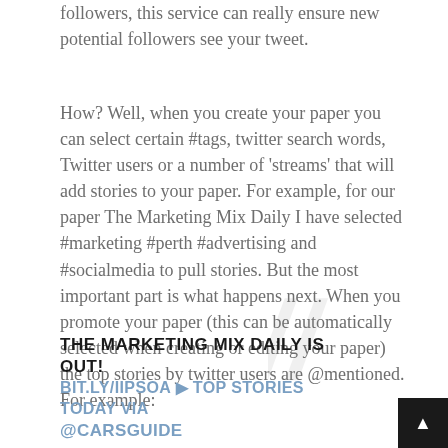followers, this service can really ensure new potential followers see your tweet.
How? Well, when you create your paper you can select certain #tags, twitter search words, Twitter users or a number of 'streams' that will add stories to your paper. For example, for our paper The Marketing Mix Daily I have selected #marketing #perth #advertising and #socialmedia to pull stories. But the most important part is what happens next. When you promote your paper (this can be automatically selected when creating or editing your paper) the top stories by twitter users are @mentioned. For example:
THE MARKETING MIX DAILY IS OUT! BIT.LY/IIPSOA ▶ TOP STORIES TODAY VIA @CARSGUIDE